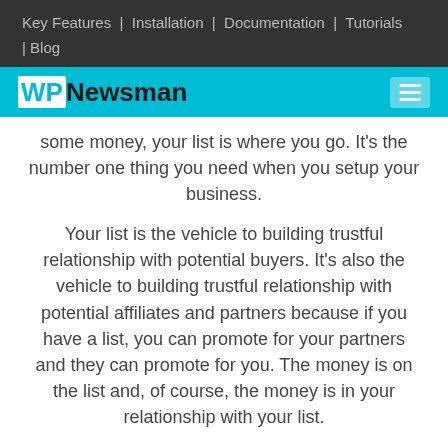Key Features  |  Installation  |  Documentation  |  Tutorials  | Blog
WPNewsman
some money, your list is where you go. It's the number one thing you need when you setup your business.
Your list is the vehicle to building trustful relationship with potential buyers. It's also the vehicle to building trustful relationship with potential affiliates and partners because if you have a list, you can promote for your partners and they can promote for you. The money is on the list and, of course, the money is in your relationship with your list.
In this article we will cover two types of lists you can have and basic list building foundations.
Basically there are two types of lists: email and other